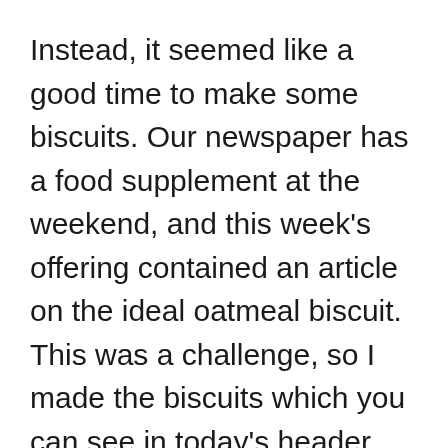Instead, it seemed like a good time to make some biscuits. Our newspaper has a food supplement at the weekend, and this week's offering contained an article on the ideal oatmeal biscuit. This was a challenge, so I made the biscuits which you can see in today's header picture.
Readers who know that supermarket biscuits encourage you to eat too much, will not be surprised to find that the results were much less sweet than the biscuits that I had made following the recipe from the packet of